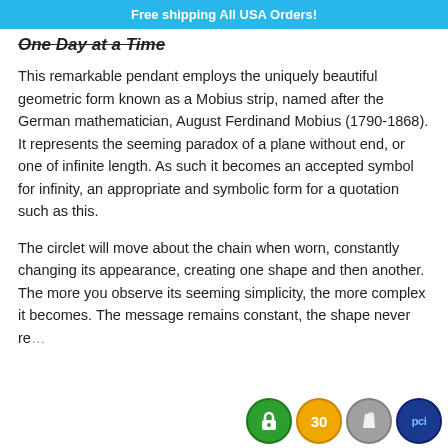Free shipping All USA Orders!
One Day at a Time
This remarkable pendant employs the uniquely beautiful geometric form known as a Mobius strip, named after the German mathematician, August Ferdinand Mobius (1790-1868). It represents the seeming paradox of a plane without end, or one of infinite length. As such it becomes an accepted symbol for infinity, an appropriate and symbolic form for a quotation such as this.
The circlet will move about the chain when worn, constantly changing its appearance, creating one shape and then another. The more you observe its seeming simplicity, the more complex it becomes. The message remains constant, the shape never re…